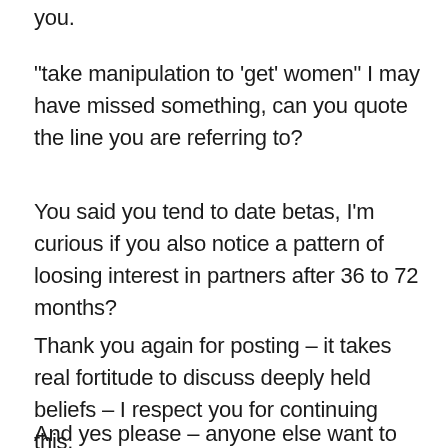you.
“take manipulation to ‘get’ women” I may have missed something, can you quote the line you are referring to?
You said you tend to date betas, I’m curious if you also notice a pattern of loosing interest in partners after 36 to 72 months?
Thank you again for posting – it takes real fortitude to discuss deeply held beliefs – I respect you for continuing this.
And yes please – anyone else want to